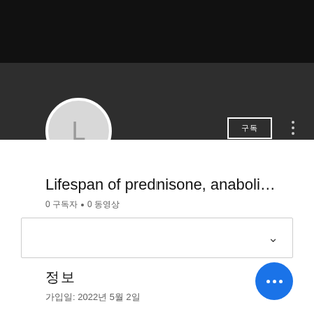[Figure (screenshot): YouTube-style channel page screenshot showing dark banner header, profile circle with letter L, subscribe button, channel name, stats, dropdown box, and section info]
Lifespan of prednisone, anaboli...
0 구독자 • 0 동영상
정보
가입일: 2022년 5월 2일